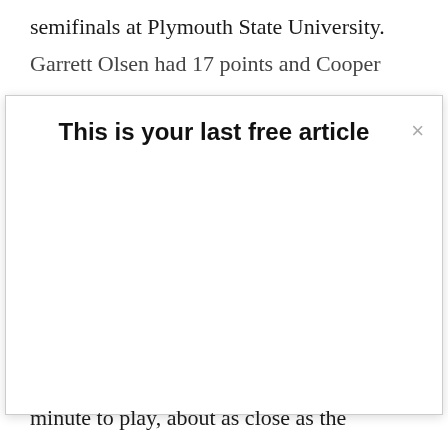semifinals at Plymouth State University.
Garrett Olsen had 17 points and Cooper
[Figure (screenshot): A modal dialog overlay with the message 'This is your last free article' and a close (×) button in the top right corner. The modal has a white background with a thin border.]
minute to play, about as close as the